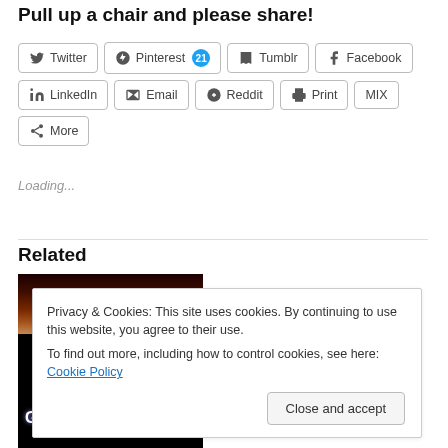Pull up a chair and please share!
[Figure (screenshot): Social media share buttons: Twitter, Pinterest (21), Tumblr, Facebook, LinkedIn, Email, Reddit, Print, MIX, More]
Loading...
Related
[Figure (photo): Dark image with fire/warm tones on top half and 'GO HUG YOURSELF' text in white/blue on black background at bottom]
Privacy & Cookies: This site uses cookies. By continuing to use this website, you agree to their use.
To find out more, including how to control cookies, see here: Cookie Policy
Close and accept